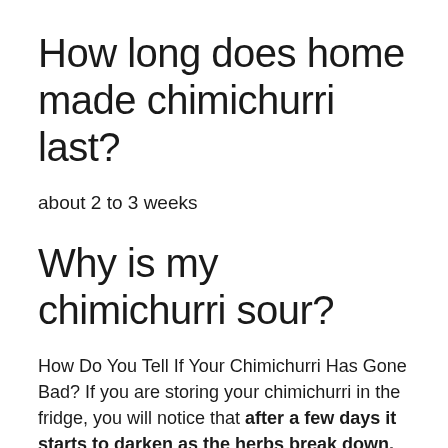How long does home made chimichurri last?
about 2 to 3 weeks
Why is my chimichurri sour?
How Do You Tell If Your Chimichurri Has Gone Bad? If you are storing your chimichurri in the fridge, you will notice that after a few days it starts to darken as the herbs break down. The oil may also start to go a little bit bad and turn rancid. If these things happen, your sauce will start to